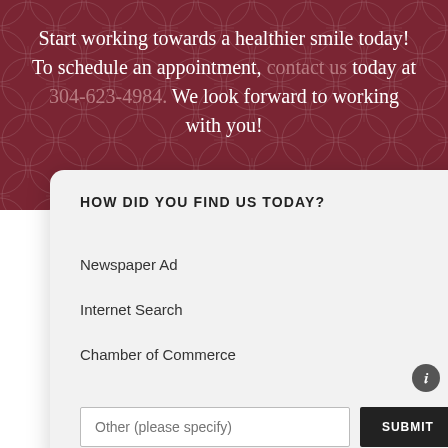Start working towards a healthier smile today! To schedule an appointment, contact us today at 304-623-4984. We look forward to working with you!
HOW DID YOU FIND US TODAY?
Newspaper Ad
Internet Search
Chamber of Commerce